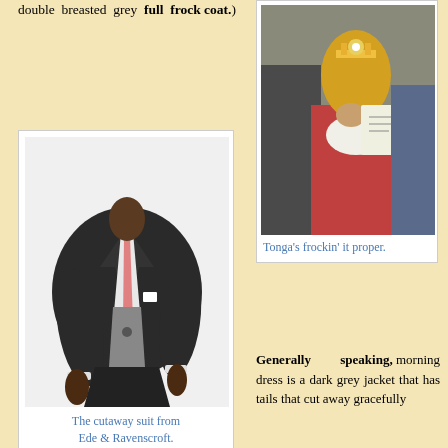double breasted grey full frock coat.)
[Figure (photo): A mannequin wearing a dark grey cutaway morning coat suit with a salmon/pink tie and grey waistcoat]
The cutaway suit from Ede & Ravenscroft.
[Figure (photo): Photo of a person at a ceremonial event wearing ornate golden headgear, described as Tonga frock coat style]
Tonga's frockin' it proper.
Generally speaking, morning dress is a dark grey jacket that has tails that cut away gracefully